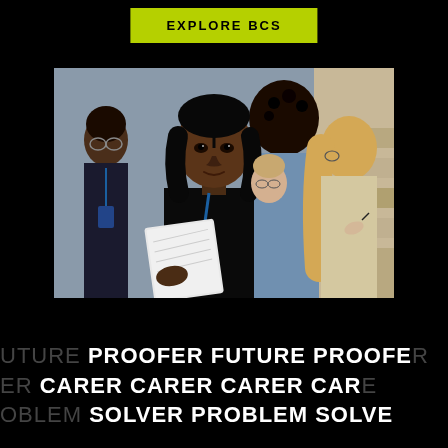EXPLORE BCS
[Figure (photo): Group of professionals or students at a networking or conference event. A Black woman in the foreground holds a notebook/binder and looks forward. Other attendees are visible around her, including a man with glasses, a person with curly hair, and a woman with glasses writing.]
FUTURE PROOFER FUTURE PROOFER CARER CARER CARER CARER PROBLEM SOLVER PROBLEM SOLVER